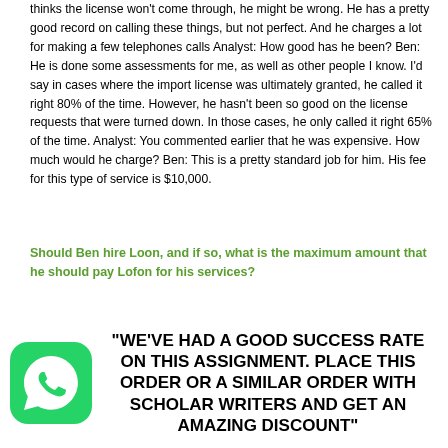thinks the license won't come through, he might be wrong. He has a pretty good record on calling these things, but not perfect. And he charges a lot for making a few telephones calls Analyst: How good has he been? Ben: He is done some assessments for me, as well as other people I know. I'd say in cases where the import license was ultimately granted, he called it right 80% of the time. However, he hasn't been so good on the license requests that were turned down. In those cases, he only called it right 65% of the time. Analyst: You commented earlier that he was expensive. How much would he charge? Ben: This is a pretty standard job for him. His fee for this type of service is $10,000.
Should Ben hire Loon, and if so, what is the maximum amount that he should pay Lofon for his services?
"WE'VE HAD A GOOD SUCCESS RATE ON THIS ASSIGNMENT. PLACE THIS ORDER OR A SIMILAR ORDER WITH SCHOLAR WRITERS AND GET AN AMAZING DISCOUNT"